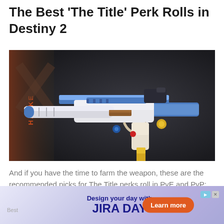The Best 'The Title' Perk Rolls in Destiny 2
[Figure (screenshot): A blue and white submachine gun (SMG) named 'The Title' from the video game Destiny 2, shown against a dark grey background with the HAKKE logo/branding visible on the left side. The weapon has a white body with blue accents, a large suppressor barrel, and gold/yellow magazine.]
And if you have the time to farm the weapon, these are the recommended picks for The Title perks roll in PvE and PvP:
[Figure (screenshot): Advertisement banner for JIRA DAY - 'Design your day with JIRA DAY' with a Learn more button on an orange pill button, set against a purple gradient background with a play icon.]